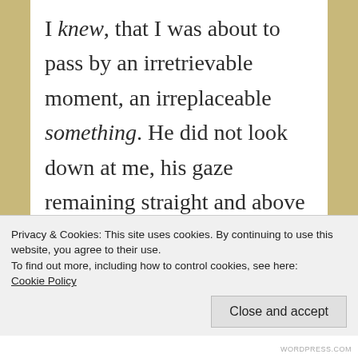I knew, that I was about to pass by an irretrievable moment, an irreplaceable something. He did not look down at me, his gaze remaining straight and above me, and perhaps this was what made me look up to him so completely, experiencing the lowness of my place, as though I were down on my knees, dejected there on the
Privacy & Cookies: This site uses cookies. By continuing to use this website, you agree to their use.
To find out more, including how to control cookies, see here: Cookie Policy